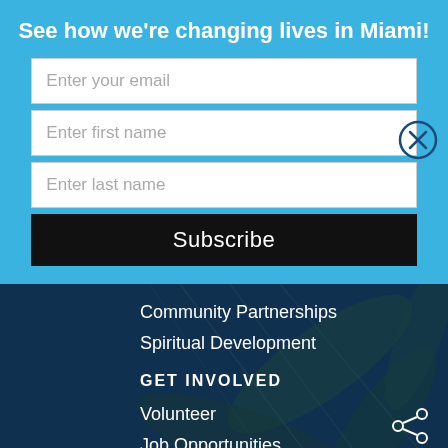See how we're changing lives in Miami!
Enter your email
Enter first name
Enter last name
Subscribe
Community Partnerships
Spiritual Development
GET INVOLVED
Volunteer
Job Opportunities
Riverside House